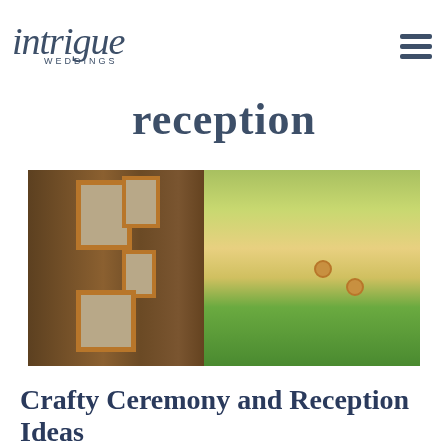intrigue WEDDINGS
reception
[Figure (photo): Outdoor scene with framed black-and-white photographs hung on a large tree trunk, with a sunny field and green foliage in the background, and small circular ornaments hanging from branches.]
Crafty Ceremony and Reception Ideas